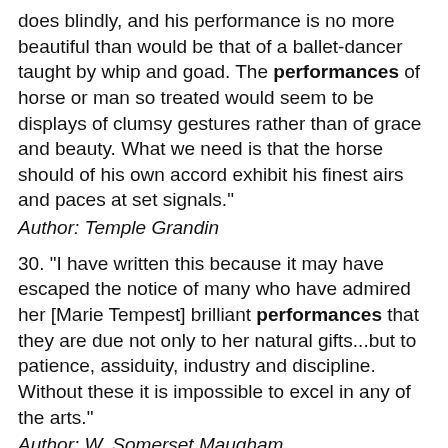does blindly, and his performance is no more beautiful than would be that of a ballet-dancer taught by whip and goad. The performances of horse or man so treated would seem to be displays of clumsy gestures rather than of grace and beauty. What we need is that the horse should of his own accord exhibit his finest airs and paces at set signals."
Author: Temple Grandin
30. "I have written this because it may have escaped the notice of many who have admired her [Marie Tempest] brilliant performances that they are due not only to her natural gifts...but to patience, assiduity, industry and discipline. Without these it is impossible to excel in any of the arts."
Author: W. Somerset Maugham
31. "I'm really very sorry for you all, but it's an unjust world, and virtue is triumphant only in theatrical performances."